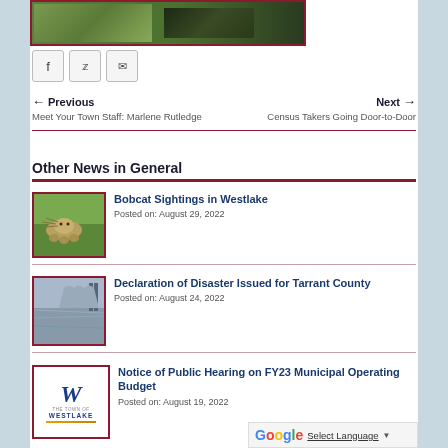[Figure (photo): Cropped top image showing greenery and a wire/mesh structure with a dark photo panel, bordered in dark red]
[Figure (infographic): Social sharing buttons: Facebook (f), Twitter (bird), Email (envelope) icons in light gray rounded boxes]
← Previous
Meet Your Town Staff: Marlene Rutledge
Next →
Census Takers Going Door-to-Door
Other News in General
[Figure (photo): Thumbnail photo of a bobcat standing on grass near water]
Bobcat Sightings in Westlake
Posted on: August 29, 2022
[Figure (photo): Thumbnail photo of a flooded road or waterway with power line towers visible]
Declaration of Disaster Issued for Tarrant County
Posted on: August 24, 2022
[Figure (logo): Westlake town logo: stylized W in blue italic with THE TOWN OF WESTLAKE text below and gold underline]
Notice of Public Hearing on FY23 Municipal Operating Budget
Posted on: August 19, 2022
[Figure (screenshot): Google Translate widget bar with Google logo and 'Select Language' dropdown arrow]